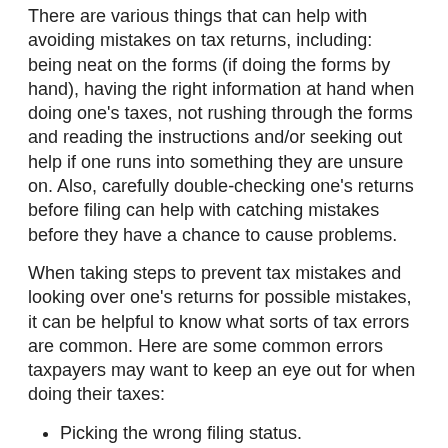There are various things that can help with avoiding mistakes on tax returns, including: being neat on the forms (if doing the forms by hand), having the right information at hand when doing one's taxes, not rushing through the forms and reading the instructions and/or seeking out help if one runs into something they are unsure on. Also, carefully double-checking one's returns before filing can help with catching mistakes before they have a chance to cause problems.
When taking steps to prevent tax mistakes and looking over one's returns for possible mistakes, it can be helpful to know what sorts of tax errors are common. Here are some common errors taxpayers may want to keep an eye out for when doing their taxes:
Picking the wrong filing status.
Making a math error.
Making a health care reporting mistake.
Misspelling a name.
Making a digit mistake when putting down a Social Security number or bank account number.
Accidentally claiming a deduction/credit one doesn't qualify for.